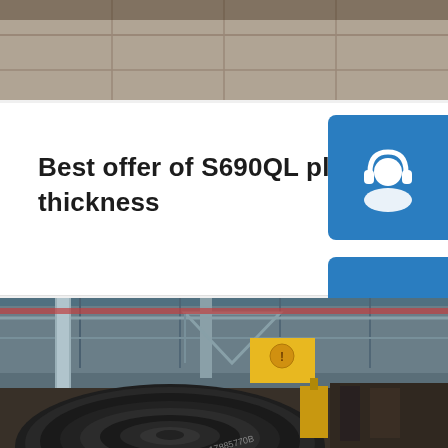[Figure (photo): Top portion of a photo showing a factory floor or warehouse ceiling, grey/tan tones]
Best offer of S690QL plate equivalent in 6m thickness
[Figure (photo): Large steel coil on factory floor inside an industrial warehouse building with cranes and yellow safety equipment]
[Figure (infographic): Three blue icon buttons on the right side: customer service headset icon, phone icon, and Skype 'S' logo icon]